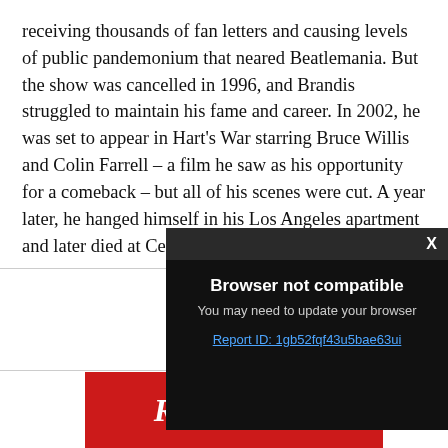receiving thousands of fan letters and causing levels of public pandemonium that neared Beatlemania. But the show was cancelled in 1996, and Brandis struggled to maintain his fame and career. In 2002, he was set to appear in Hart's War starring Bruce Willis and Colin Farrell – a film he saw as his opportunity for a comeback – but all of his scenes were cut. A year later, he hanged himself in his Los Angeles apartment and later died at Cedars-Sinai Hospital.
[Figure (screenshot): Browser not compatible modal dialog with dark background. Title: 'Browser not compatible'. Subtitle: 'You may need to update your browser'. Link: 'Report ID: 1gb52fqf43u5bae63ui'. Has a close button 'X' in top right corner on dark toolbar.]
[Figure (screenshot): Rolling Stone magazine advertisement banner in red with white italic 'RollingStone' logo text. Left side shows a magazine cover thumbnail.]